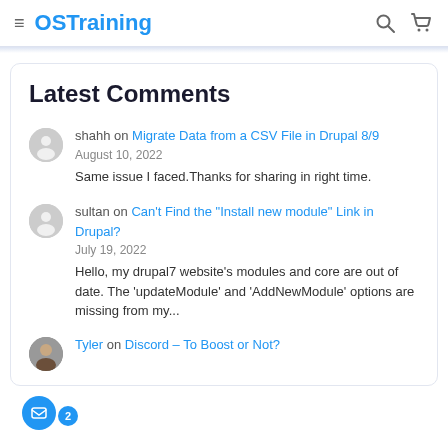OSTraining
Latest Comments
shahh on Migrate Data from a CSV File in Drupal 8/9 — August 10, 2022 — Same issue I faced.Thanks for sharing in right time.
sultan on Can't Find the "Install new module" Link in Drupal? — July 19, 2022 — Hello, my drupal7 website's modules and core are out of date. The 'updateModule' and 'AddNewModule' options are missing from my...
Tyler on Discord – To Boost or Not?